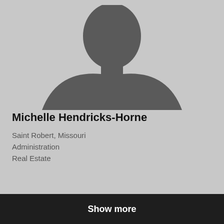[Figure (illustration): Default avatar silhouette of a person (head and shoulders) on a light grey background]
Menu
Michelle Hendricks-Horne
Saint Robert, Missouri
Administration
Real Estate
Show more